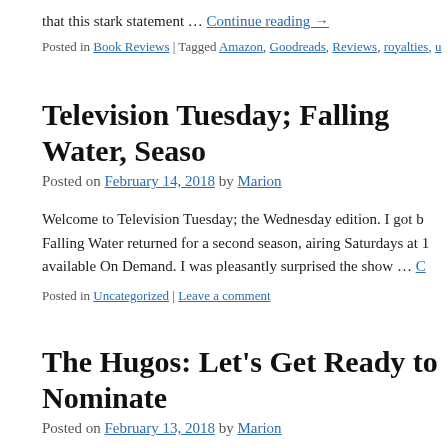that this stark statement … Continue reading →
Posted in Book Reviews | Tagged Amazon, Goodreads, Reviews, royalties, u
Television Tuesday; Falling Water, Seaso
Posted on February 14, 2018 by Marion
Welcome to Television Tuesday; the Wednesday edition. I got b Falling Water returned for a second season, airing Saturdays at 1 available On Demand. I was pleasantly surprised the show … C
Posted in Uncategorized | Leave a comment
The Hugos: Let's Get Ready to Nominate
Posted on February 13, 2018 by Marion
It's award season! Currently, the Hugo committee is accepting n for the finalist list of the 2018 Hugos. I'm an eligible voter. The there is a voting system that employs ranking rather than … Co